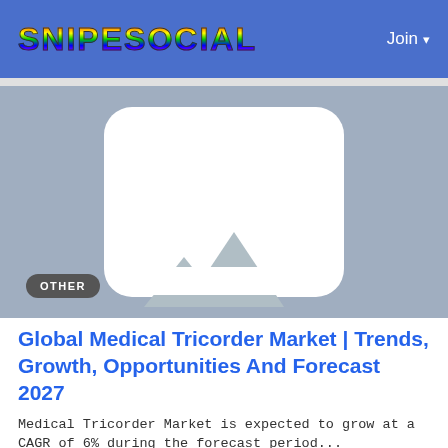SNIPESOCIAL — Join
[Figure (photo): Placeholder image thumbnail with mountains icon on gray background, with 'OTHER' badge overlay]
Global Medical Tricorder Market | Trends, Growth, Opportunities And Forecast 2027
Medical Tricorder Market is expected to grow at a CAGR of 6% during the forecast period...
By Chetana Gardas  4 months ago  0  10